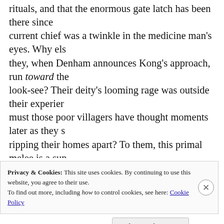rituals, and that the enormous gate latch has been there since current chief was a twinkle in the medicine man's eyes. Why els they, when Denham announces Kong's approach, run toward the look-see? Their deity's looming rage was outside their experien must those poor villagers have thought moments later as they s ripping their homes apart? To them, this primal melee is a sup event, a righteous rebuke from the lord of the jungle to never le futz with the legalism, a thunderbolt of wrath for their insipid complacency. Those who survived to assay the damage, while p through the damage left behind after the departure of the me visitors, must have questioned their complicit hearts, must ha themselves unworthy: not only must they have botched their of their god was stolen away to boot, never to return. Without the
Privacy & Cookies: This site uses cookies. By continuing to use this website, you agree to their use.
To find out more, including how to control cookies, see here: Cookie Policy
Close and accept